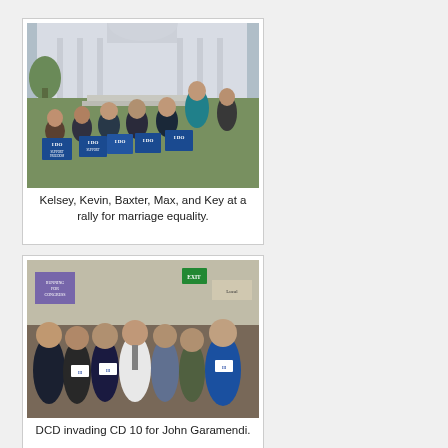[Figure (photo): Group of students holding blue 'I DO support the freedom to marry' signs on steps of what appears to be a government building or capitol.]
Kelsey, Kevin, Baxter, Max, and Key at a rally for marriage equality.
[Figure (photo): Group of young people indoors posing together, with a person in a white shirt and tie in the center. A sign reading 'Running for Congress' is visible on the wall.]
DCD invading CD 10 for John Garamendi.
[Figure (photo): Partial view of a group photo of people in a dark setting, showing mostly faces.]